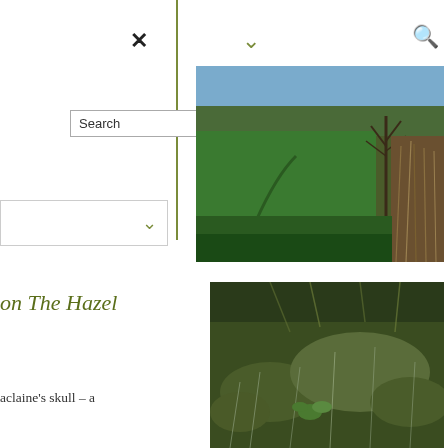[Figure (screenshot): Website navigation UI showing a close X button, chevron dropdown icon, search icon, a Search input box, and a dropdown selector on the left panel of the page]
[Figure (photo): Landscape photograph showing open green meadow with path, bare tree in background, blue sky, and dry tall grasses in foreground/right]
on The Hazel
aclaine's skull – a
[Figure (photo): Close-up photograph of heather or moorland vegetation including grasses, low shrubs, and a small leafy plant, with frost or dew on the plants]